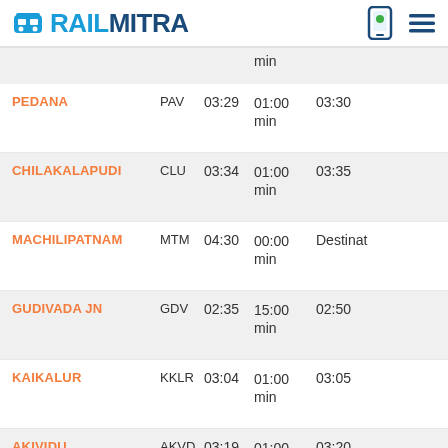RAILMITRA
| Station | Code | Arrival | Halt | Departure |
| --- | --- | --- | --- | --- |
|  |  |  | min |  |
| PEDANA | PAV | 03:29 | 01:00 min | 03:30 |
| CHILAKALAPUDI | CLU | 03:34 | 01:00 min | 03:35 |
| MACHILIPATNAM | MTM | 04:30 | 00:00 min | Destinat |
| GUDIVADA JN | GDV | 02:35 | 15:00 min | 02:50 |
| KAIKALUR | KKLR | 03:04 | 01:00 min | 03:05 |
| AKIVIDU | AKVD | 03:19 | 01:00 min | 03:20 |
| BHIMAVARAM TOWN | BVRT | 03:44 | 01:00 min | 03:45 |